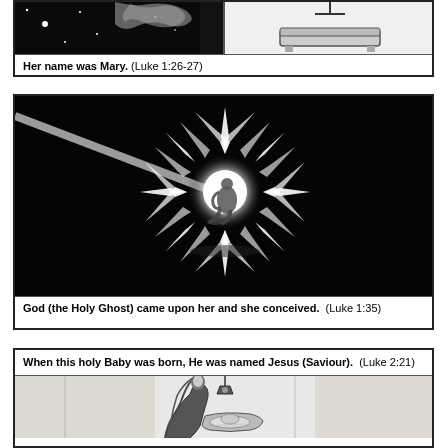[Figure (illustration): Top panel (partially visible): left half shows dark starry sky with star shapes; right half shows white background with an object (bed/tomb). Caption: 'Her name was Mary. (Luke 1:26-27)']
Her name was Mary. (Luke 1:26-27)
[Figure (illustration): Middle panel: black background with a large radiant white burst of light (starburst pattern with rays), a kneeling human figure silhouetted at center, and a diagonal beam of light from upper left.]
God (the Holy Ghost) came upon her and she conceived. (Luke 1:35)
[Figure (illustration): Bottom panel: partially visible illustration of Mary and baby Jesus in nativity scene, black and white engraving style with hanging lamp.]
When this holy Baby was born, He was named Jesus (Saviour). (Luke 2:21)